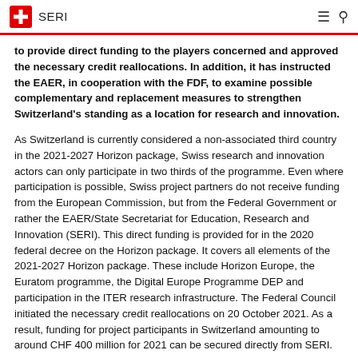SERI
to provide direct funding to the players concerned and approved the necessary credit reallocations. In addition, it has instructed the EAER, in cooperation with the FDF, to examine possible complementary and replacement measures to strengthen Switzerland's standing as a location for research and innovation.
As Switzerland is currently considered a non-associated third country in the 2021-2027 Horizon package, Swiss research and innovation actors can only participate in two thirds of the programme. Even where participation is possible, Swiss project partners do not receive funding from the European Commission, but from the Federal Government or rather the EAER/State Secretariat for Education, Research and Innovation (SERI). This direct funding is provided for in the 2020 federal decree on the Horizon package. It covers all elements of the 2021-2027 Horizon package. These include Horizon Europe, the Euratom programme, the Digital Europe Programme DEP and participation in the ITER research infrastructure. The Federal Council initiated the necessary credit reallocations on 20 October 2021. As a result, funding for project participants in Switzerland amounting to around CHF 400 million for 2021 can be secured directly from SERI.